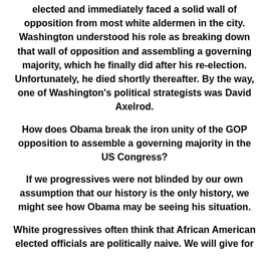elected and immediately faced a solid wall of opposition from most white aldermen in the city. Washington understood his role as breaking down that wall of opposition and assembling a governing majority, which he finally did after his re-election. Unfortunately, he died shortly thereafter. By the way, one of Washington's political strategists was David Axelrod.
How does Obama break the iron unity of the GOP opposition to assemble a governing majority in the US Congress?
If we progressives were not blinded by our own assumption that our history is the only history, we might see how Obama may be seeing his situation.
White progressives often think that African American elected officials are politically naive. We will give for